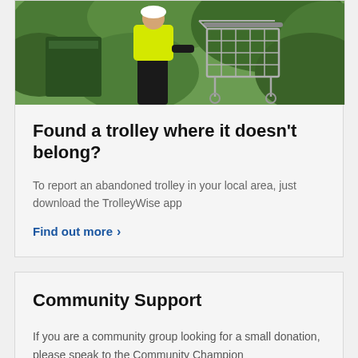[Figure (photo): A person wearing a high-visibility yellow vest standing near a shopping trolley, with green foliage/bushes in the background.]
Found a trolley where it doesn't belong?
To report an abandoned trolley in your local area, just download the TrolleyWise app
Find out more >
Community Support
If you are a community group looking for a small donation, please speak to the Community Champion